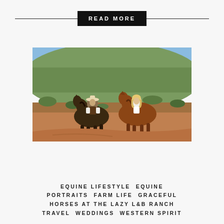READ MORE
[Figure (photo): A man in a cowboy hat and a woman in a white dress riding brown horses across a desert scrubland landscape with red dirt and green brush on a hillside under blue sky.]
EQUINE LIFESTYLE  EQUINE PORTRAITS  FARM LIFE  GRACEFUL HORSES AT THE LAZY L&B RANCH  TRAVEL  WEDDINGS  WESTERN SPIRIT